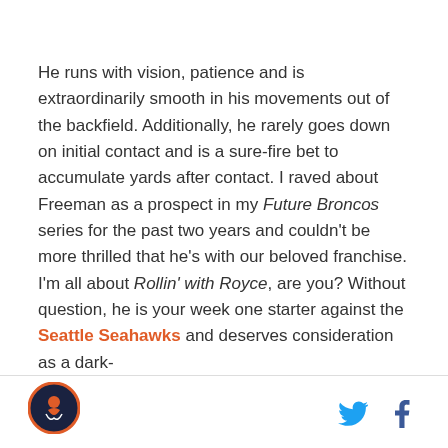He runs with vision, patience and is extraordinarily smooth in his movements out of the backfield. Additionally, he rarely goes down on initial contact and is a sure-fire bet to accumulate yards after contact. I raved about Freeman as a prospect in my Future Broncos series for the past two years and couldn't be more thrilled that he's with our beloved franchise. I'm all about Rollin' with Royce, are you? Without question, he is your week one starter against the Seattle Seahawks and deserves consideration as a dark-
[Figure (logo): Circular sports logo with orange border, dark background, and athlete figure]